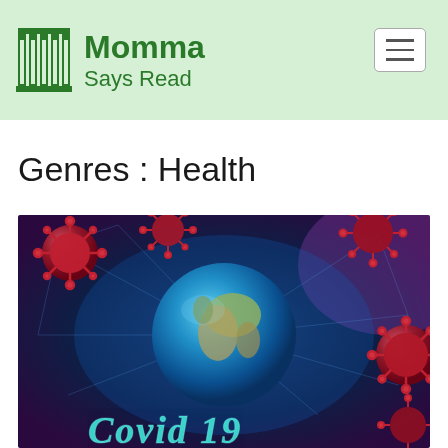Momma Says Read
Genres : Health
[Figure (illustration): Book cover illustration showing a 3D globe (Earth) surrounded by red COVID-19 coronavirus particles against a blue networked background, with 'Covid 19' text visible at the bottom of the image.]